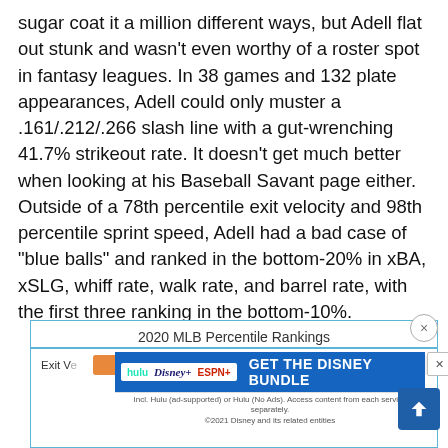sugar coat it a million different ways, but Adell flat out stunk and wasn't even worthy of a roster spot in fantasy leagues. In 38 games and 132 plate appearances, Adell could only muster a .161/.212/.266 slash line with a gut-wrenching 41.7% strikeout rate. It doesn't get much better when looking at his Baseball Savant page either. Outside of a 78th percentile exit velocity and 98th percentile sprint speed, Adell had a bad case of "blue balls" and ranked in the bottom-20% in xBA, xSLG, whiff rate, walk rate, and barrel rate, with the first three ranking in the bottom-10%.
[Figure (other): 2020 MLB Percentile Rankings chart partially visible, showing Exit Velocity row and xSLG, Barrel %, BB % labels at bottom. Overlaid by a Hulu/Disney+/ESPN ad banner.]